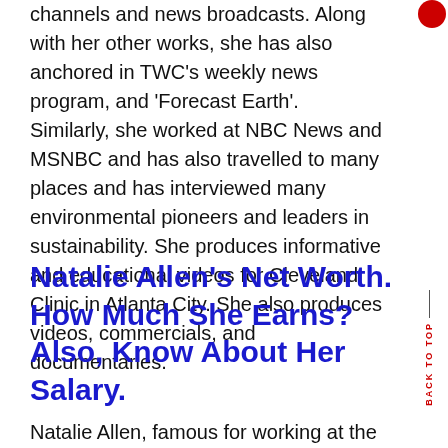channels and news broadcasts. Along with her other works, she has also anchored in TWC's weekly news program, and 'Forecast Earth'. Similarly, she worked at NBC News and MSNBC and has also travelled to many places and has interviewed many environmental pioneers and leaders in sustainability. She produces informative and educational videos for Cleveland Clinic in Atlanta City. She also produces videos, commercials, and documentaries.
Natalie Allen's Net Worth. How Much She Earns? Also, Know About Her Salary.
Natalie Allen, famous for working at the headquarters